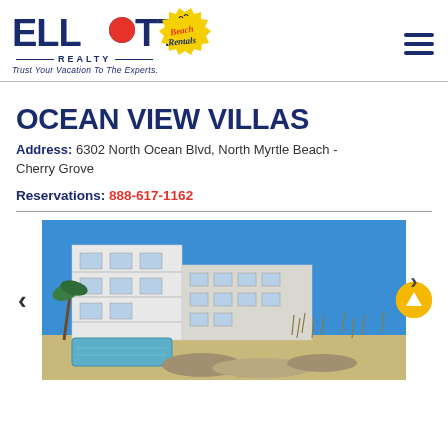[Figure (logo): Elliott Realty Beach Rentals logo with tagline 'Trust Your Vacation To The Experts.']
OCEAN VIEW VILLAS
Address: 6302 North Ocean Blvd, North Myrtle Beach - Cherry Grove
Reservations: 888-617-1162
[Figure (photo): Exterior photo of Ocean View Villas — a multi-story white/grey condominium building with balconies, palm trees, a pool, and blue sky.]